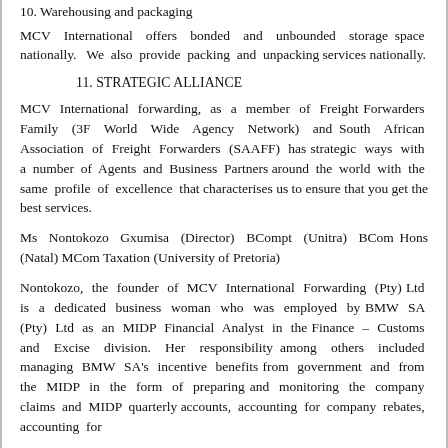10. Warehousing and packaging
MCV International offers bonded and unbounded storage space nationally.  We also provide packing and unpacking services nationally.
11. STRATEGIC ALLIANCE
MCV International forwarding, as a member of Freight Forwarders Family (3F World Wide Agency Network) and South African Association of Freight Forwarders (SAAFF) has strategic ways with a number of Agents and Business Partners around the world with the same profile of excellence that characterises us to ensure that you get the best services.
Ms Nontokozo Gxumisa (Director) BCompt (Unitra) BCom Hons (Natal) MCom Taxation (University of Pretoria)
Nontokozo, the founder of MCV International Forwarding (Pty) Ltd is a dedicated business woman who was employed by BMW SA (Pty) Ltd as an MIDP Financial Analyst in the Finance – Customs and Excise division. Her responsibility among others included managing BMW SA's incentive benefits from government and from the MIDP in the form of preparing and monitoring the company claims and MIDP quarterly accounts, accounting for company rebates, accounting for